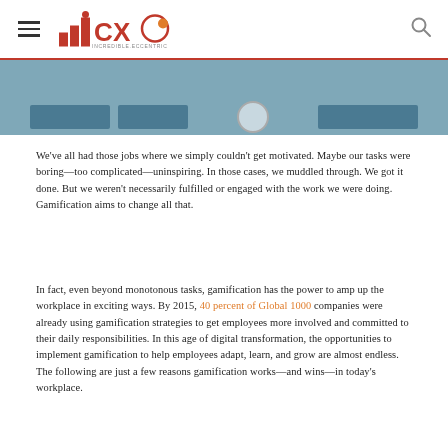CXO Incredible Eccentric logo and navigation
[Figure (photo): Partial image strip showing a teal/blue background with dark button elements at the bottom, appearing to be the bottom portion of a website hero image]
We've all had those jobs where we simply couldn't get motivated. Maybe our tasks were boring—too complicated—uninspiring. In those cases, we muddled through. We got it done. But we weren't necessarily fulfilled or engaged with the work we were doing. Gamification aims to change all that.
In fact, even beyond monotonous tasks, gamification has the power to amp up the workplace in exciting ways. By 2015, 40 percent of Global 1000 companies were already using gamification strategies to get employees more involved and committed to their daily responsibilities. In this age of digital transformation, the opportunities to implement gamification to help employees adapt, learn, and grow are almost endless. The following are just a few reasons gamification works—and wins—in today's workplace.